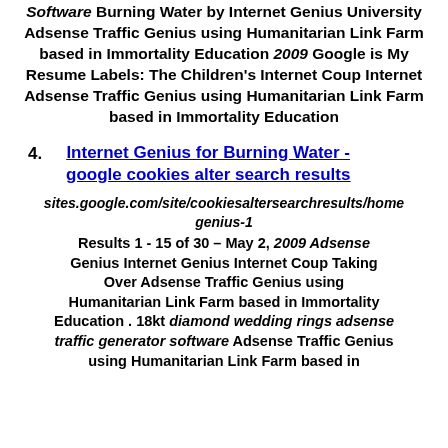Software Burning Water by Internet Genius University Adsense Traffic Genius using Humanitarian Link Farm based in Immortality Education 2009 Google is My Resume Labels: The Children's Internet Coup Internet Adsense Traffic Genius using Humanitarian Link Farm based in Immortality Education
4. Internet Genius for Burning Water - google cookies alter search results
sites.google.com/site/cookiesaltersearchresults/home genius-1
Results 1 - 15 of 30 – May 2, 2009 Adsense Genius Internet Genius Internet Coup Taking Over Adsense Traffic Genius using Humanitarian Link Farm based in Immortality Education . 18kt diamond wedding rings adsense traffic generator software Adsense Traffic Genius using Humanitarian Link Farm based in